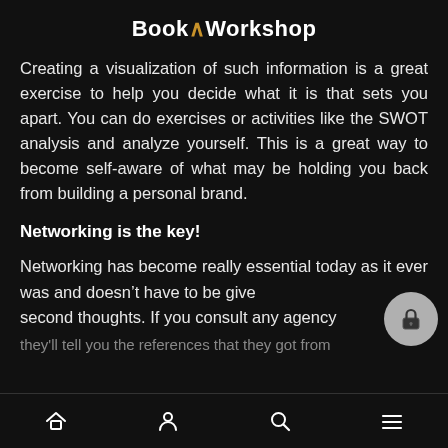BookAWorkshop
Creating a visualization of such information is a great exercise to help you decide what it is that sets you apart. You can do exercises or activities like the SWOT analysis and analyze yourself. This is a great way to become self-aware of what may be holding you back from building a personal brand.
Networking is the key!
Networking has become really essential today as it ever was and doesn't have to be given second thoughts. If you consult any agency they'll tell you the references that they got from